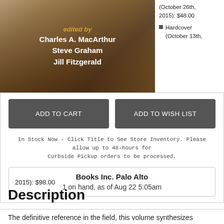[Figure (photo): Open book photograph with warm brown tones, overlaid with editor names in white and gold text]
edited by
Charles A. MacArthur
Steve Graham
Jill Fitzgerald
(October 26th, 2015): $48.00
Hardcover (October 13th,
ADD TO CART
ADD TO WISH LIST
In Stock Now - Click Title to See Store Inventory. Please allow up to 48-hours for Curbside Pickup orders to be processed.
Books Inc. Palo Alto
1 on hand, as of Aug 22 5:05am
2015): $98.00
Description
The definitive reference in the field, this volume synthesizes current knowledge on writing development and instruction at all grade levels. Prominent scholars examine numerous facets of